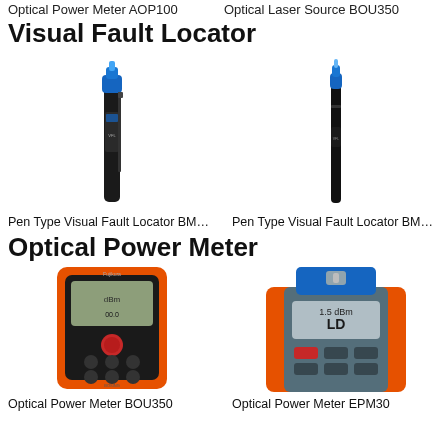Optical Power Meter AOP100	Optical Laser Source BOU350
Visual Fault Locator
[Figure (photo): Pen Type Visual Fault Locator pen-shaped device with blue tip, black body]
[Figure (photo): Pen Type Visual Fault Locator pen-shaped device with blue tip, black body, slim model]
Pen Type Visual Fault Locator BM…
Pen Type Visual Fault Locator BM…
Optical Power Meter
[Figure (photo): Optical Power Meter BOU350 — orange and black handheld device with display and buttons]
[Figure (photo): Optical Power Meter EPM30 — orange and grey handheld device with display and buttons]
Optical Power Meter BOU350
Optical Power Meter EPM30